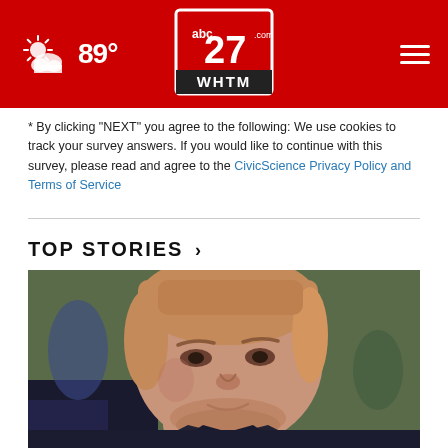abc27 WHTM — 89°
* By clicking "NEXT" you agree to the following: We use cookies to track your survey answers. If you would like to continue with this survey, please read and agree to the CivicScience Privacy Policy and Terms of Service
TOP STORIES ›
[Figure (photo): Close-up photo of a young man with short blond/red hair and light beard stubble, wearing a dark uniform shirt, looking slightly downward. Outdoor background visible.]